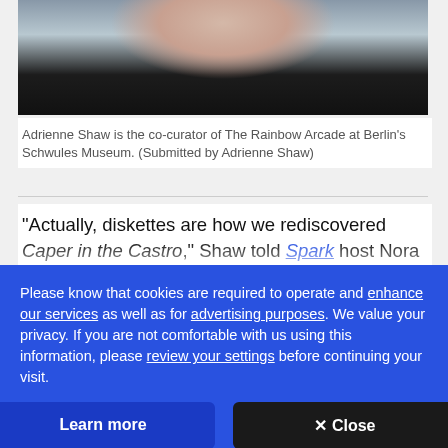[Figure (photo): Partial photo of Adrienne Shaw, showing neck and dark jacket, cropped at top]
Adrienne Shaw is the co-curator of The Rainbow Arcade at Berlin's Schwules Museum. (Submitted by Adrienne Shaw)
"Actually, diskettes are how we rediscovered Caper in the Castro," Shaw told Spark host Nora Young. "We
Please know that cookies are required to operate and enhance our services as well as for advertising purposes. We value your privacy. If you are not comfortable with us using this information, please review your settings before continuing your visit.
Learn more
✕ Close